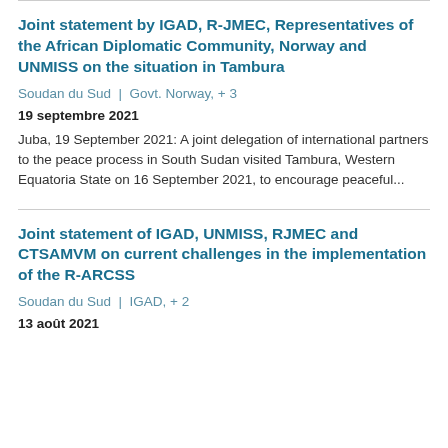Joint statement by IGAD, R-JMEC, Representatives of the African Diplomatic Community, Norway and UNMISS on the situation in Tambura
Soudan du Sud  |  Govt. Norway, + 3
19 septembre 2021
Juba, 19 September 2021: A joint delegation of international partners to the peace process in South Sudan visited Tambura, Western Equatoria State on 16 September 2021, to encourage peaceful...
Joint statement of IGAD, UNMISS, RJMEC and CTSAMVM on current challenges in the implementation of the R-ARCSS
Soudan du Sud  |  IGAD, + 2
13 août 2021